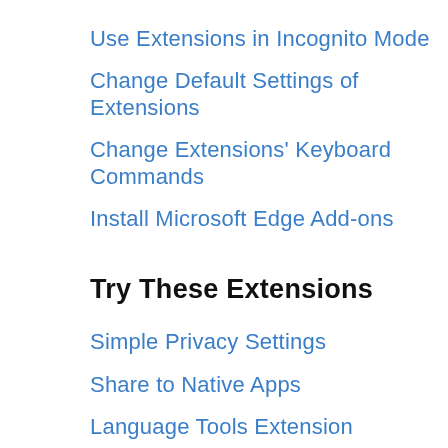Use Extensions in Incognito Mode
Change Default Settings of Extensions
Change Extensions' Keyboard Commands
Install Microsoft Edge Add-ons
Try These Extensions
Simple Privacy Settings
Share to Native Apps
Language Tools Extension
Save Webpages Offline
User-Agent Switcher Extension